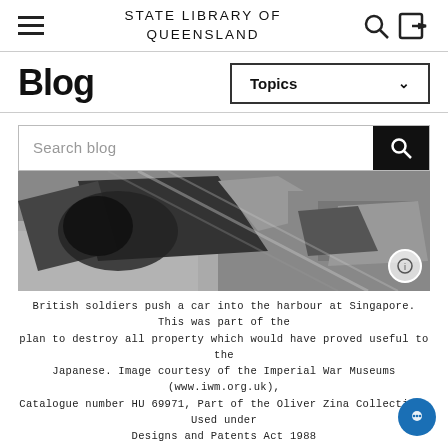STATE LIBRARY OF QUEENSLAND
Blog
Topics
Search blog
[Figure (photo): Black and white photograph of British soldiers pushing a car into the harbour at Singapore, with military equipment visible.]
British soldiers push a car into the harbour at Singapore. This was part of the plan to destroy all property which would have proved useful to the Japanese. Image courtesy of the Imperial War Museums (www.iwm.org.uk), Catalogue number HU 69971, Part of the Oliver Zina Collection. Used under Designs and Patents Act 1988